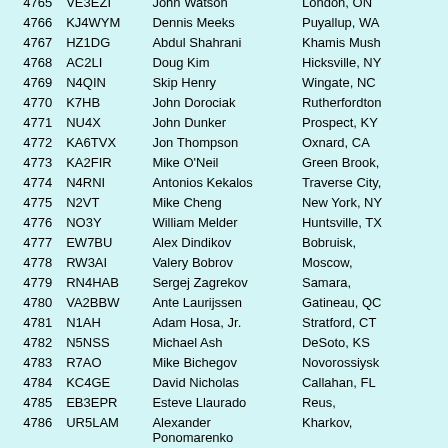| # | Callsign | Name | Location |
| --- | --- | --- | --- |
| 4765 | VE3EZI | John Watson | London, ON |
| 4766 | KJ4WYM | Dennis Meeks | Puyallup, WA |
| 4767 | HZ1DG | Abdul Shahrani | Khamis Mush |
| 4768 | AC2LI | Doug Kim | Hicksville, NY |
| 4769 | N4QIN | Skip Henry | Wingate, NC |
| 4770 | K7HB | John Dorociak | Rutherfordton |
| 4771 | NU4X | John Dunker | Prospect, KY |
| 4772 | KA6TVX | Jon Thompson | Oxnard, CA |
| 4773 | KA2FIR | Mike O'Neil | Green Brook, |
| 4774 | N4RNI | Antonios Kekalos | Traverse City, |
| 4775 | N2VT | Mike Cheng | New York, NY |
| 4776 | NO3Y | William Melder | Huntsville, TX |
| 4777 | EW7BU | Alex Dindikov | Bobruisk, |
| 4778 | RW3AI | Valery Bobrov | Moscow, |
| 4779 | RN4HAB | Sergej Zagrekov | Samara, |
| 4780 | VA2BBW | Ante Laurijssen | Gatineau, QC |
| 4781 | N1AH | Adam Hosa, Jr. | Stratford, CT |
| 4782 | N5NSS | Michael Ash | DeSoto, KS |
| 4783 | R7AO | Mike Bichegov | Novorossiysk |
| 4784 | KC4GE | David Nicholas | Callahan, FL |
| 4785 | EB3EPR | Esteve Llaurado | Reus, |
| 4786 | UR5LAM | Alexander Ponomarenko | Kharkov, |
| 4787 | K4FYM | Allen Young | Folkston, GA |
| 4788 | VA7WWV | Colin Newell | Victoria, BC |
| 4789 | K9KHJ | Danny Veseth | Fox Point, WI |